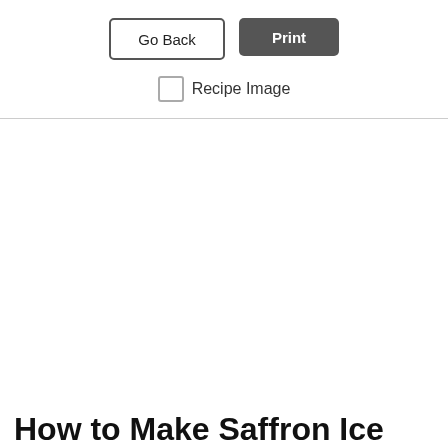[Figure (screenshot): Two UI buttons side by side: 'Go Back' (outlined style) and 'Print' (dark filled style)]
Recipe Image (with unchecked checkbox)
How to Make Saffron Ice